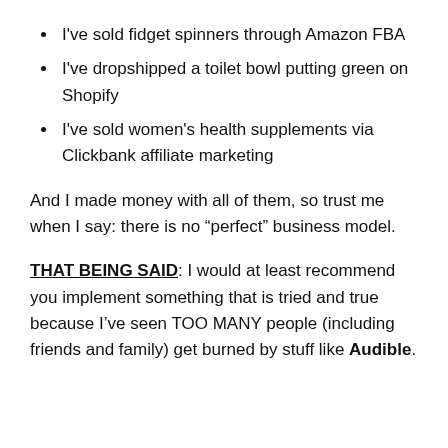I've sold fidget spinners through Amazon FBA
I've dropshipped a toilet bowl putting green on Shopify
I've sold women's health supplements via Clickbank affiliate marketing
And I made money with all of them, so trust me when I say: there is no “perfect” business model.
THAT BEING SAID: I would at least recommend you implement something that is tried and true because I’ve seen TOO MANY people (including friends and family) get burned by stuff like Audible.